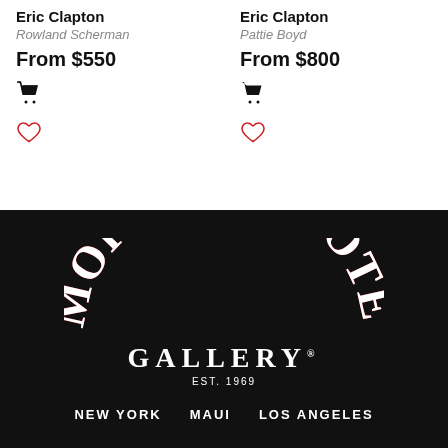Eric Clapton
Rowland Scherman
From $550
Eric Clapton
Pattie Boyd
From $800
[Figure (logo): Morrison Hotel Gallery logo with arched red and white lettering on black background, with GALLERY and EST. 1969 below]
NEW YORK   MAUI   LOS ANGELES